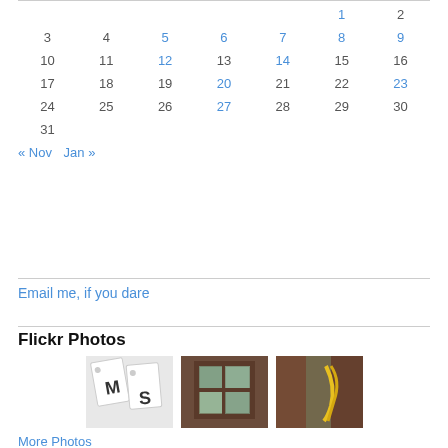| Sun | Mon | Tue | Wed | Thu | Fri | Sat |
| --- | --- | --- | --- | --- | --- | --- |
|  |  |  |  |  | 1 | 2 |
| 3 | 4 | 5 | 6 | 7 | 8 | 9 |
| 10 | 11 | 12 | 13 | 14 | 15 | 16 |
| 17 | 18 | 19 | 20 | 21 | 22 | 23 |
| 24 | 25 | 26 | 27 | 28 | 29 | 30 |
| 31 |  |  |  |  |  |  |
« Nov   Jan »
Email me, if you dare
Flickr Photos
[Figure (photo): Three Flickr photos: handwritten letters M and S on white tags; a window looking out to trees; a yellow ribbon near wooden beams]
More Photos